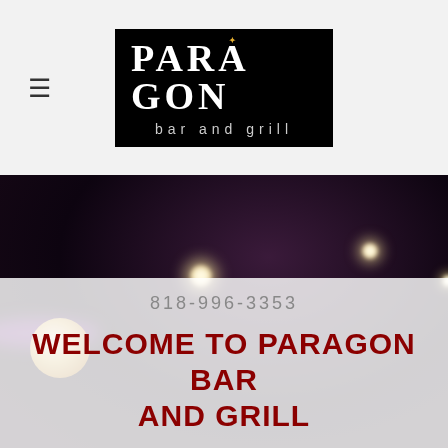[Figure (logo): Paragon Bar and Grill logo — white serif text on black background with sparkle/star icon in the letter O]
[Figure (photo): Night-time exterior photo of Paragon Bar and Grill with street lights, purple neon glow, and a globe light visible]
818-996-3353
WELCOME TO PARAGON BAR AND GRILL